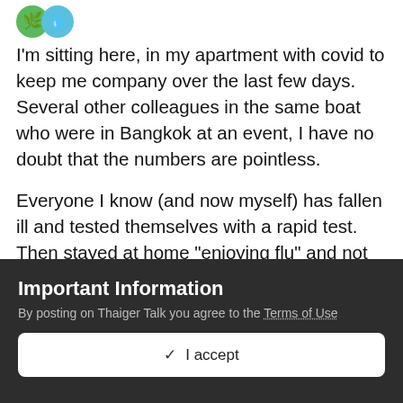[Figure (illustration): Two small avatar emoji icons (green and blue) partially visible at top left]
I'm sitting here, in my apartment with covid to keep me company over the last few days. Several other colleagues in the same boat who were in Bangkok at an event, I have no doubt that the numbers are pointless.
Everyone I know (and now myself) has fallen ill and tested themselves with a rapid test. Then stayed at home "enjoying flu" and not reported anything.
Covid is rampant in Thailand. Will ending restrictions make things worse? Not really. People are partying anyway. If you want to go join them and get covid
Important Information
By posting on Thaiger Talk you agree to the Terms of Use
✓  I accept